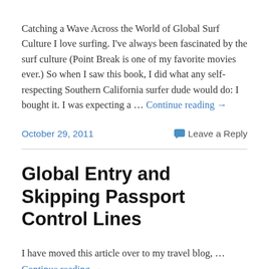Catching a Wave Across the World of Global Surf Culture I love surfing. I've always been fascinated by the surf culture (Point Break is one of my favorite movies ever.) So when I saw this book, I did what any self-respecting Southern California surfer dude would do: I bought it. I was expecting a … Continue reading →
October 29, 2011
Leave a Reply
Global Entry and Skipping Passport Control Lines
I have moved this article over to my travel blog, … Continue reading →
August 20, 2011
3 Replies